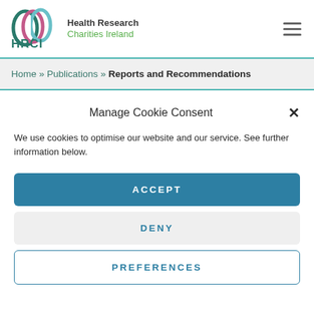[Figure (logo): HRCI Health Research Charities Ireland logo with colourful arches and HRCI text]
Home » Publications » Reports and Recommendations
Manage Cookie Consent
We use cookies to optimise our website and our service. See further information below.
ACCEPT
DENY
PREFERENCES